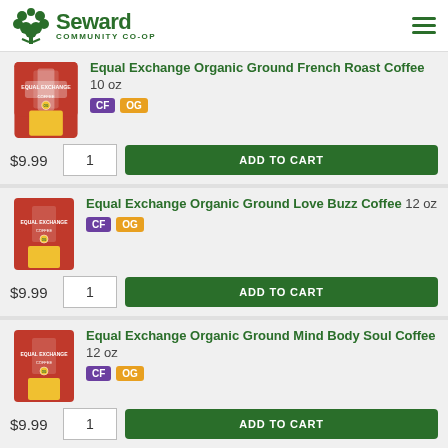Seward Community Co-op
Equal Exchange Organic Ground French Roast Coffee 10 oz CF OG $9.99 1 ADD TO CART
Equal Exchange Organic Ground Love Buzz Coffee 12 oz CF OG $9.99 1 ADD TO CART
Equal Exchange Organic Ground Mind Body Soul Coffee 12 oz CF OG $9.99 1 ADD TO CART